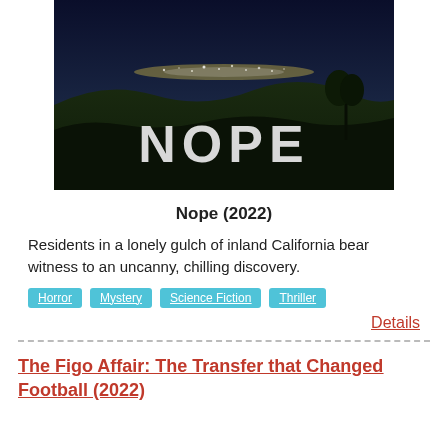[Figure (photo): Movie poster for NOPE (2022) showing a dark night landscape with city lights in the background, a tree silhouette, and large bold text reading NOPE]
Nope (2022)
Residents in a lonely gulch of inland California bear witness to an uncanny, chilling discovery.
Horror  Mystery  Science Fiction  Thriller
Details
The Figo Affair: The Transfer that Changed Football (2022)